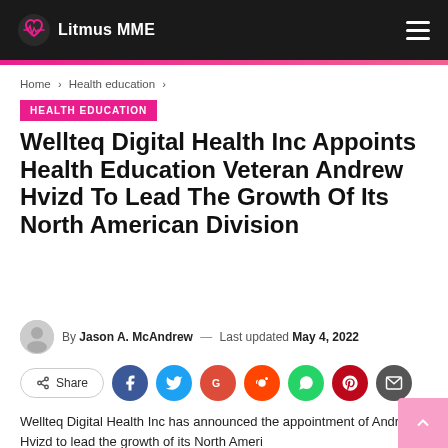Litmus MME
Home > Health education >
HEALTH EDUCATION
Wellteq Digital Health Inc Appoints Health Education Veteran Andrew Hvizd To Lead The Growth Of Its North American Division
By Jason A. McAndrew — Last updated May 4, 2022
Share
Wellteq Digital Health Inc has announced the appointment of Andrew Hvizd to lead the growth of its North Ameri...